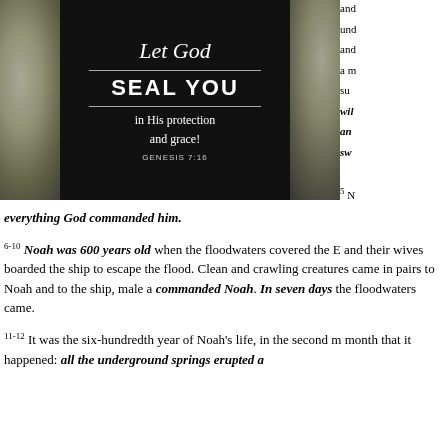[Figure (illustration): Inspirational religious image with floral border on dark background. Text reads 'Let God SEAL YOU in His protection and grace!' with reference GENESIS 7:16]
and
und
and
a m
su
wil
an
sw
5 N
everything God commanded him.
6-10 Noah was 600 years old when the floodwaters covered the E and their wives boarded the ship to escape the flood. Clean and crawling creatures came in pairs to Noah and to the ship, male a commanded Noah. In seven days the floodwaters came.
11-12 It was the six-hundredth year of Noah's life, in the second m month that it happened: all the underground springs erupted a